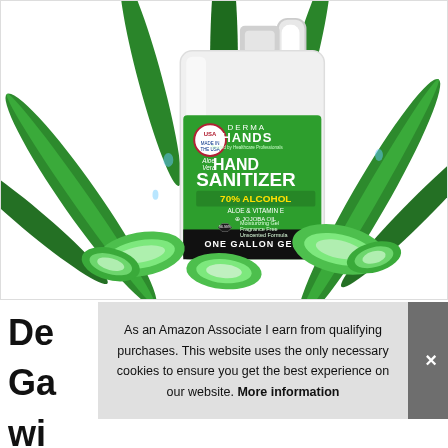[Figure (photo): Product photo of Derma Hands Aloe Vera Hand Sanitizer, One Gallon Gel, 70% Alcohol with Aloe & Vitamin E and Jojoba Oil, shown in a large white jug bottle with green label, surrounded by aloe vera plant leaves and sliced aloe pieces.]
De Ga wi
As an Amazon Associate I earn from qualifying purchases. This website uses the only necessary cookies to ensure you get the best experience on our website. More information